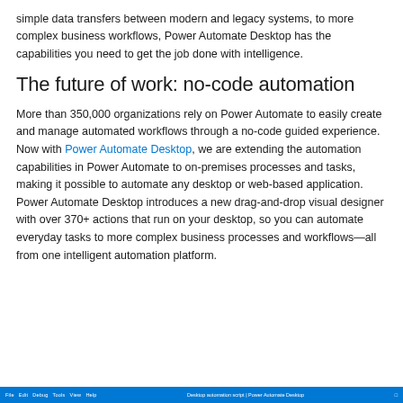simple data transfers between modern and legacy systems, to more complex business workflows, Power Automate Desktop has the capabilities you need to get the job done with intelligence.
The future of work: no-code automation
More than 350,000 organizations rely on Power Automate to easily create and manage automated workflows through a no-code guided experience. Now with Power Automate Desktop, we are extending the automation capabilities in Power Automate to on-premises processes and tasks, making it possible to automate any desktop or web-based application. Power Automate Desktop introduces a new drag-and-drop visual designer with over 370+ actions that run on your desktop, so you can automate everyday tasks to more complex business processes and workflows—all from one intelligent automation platform.
File  Edit  Debug  Tools  View  Help     Desktop automation script | Power Automate Desktop